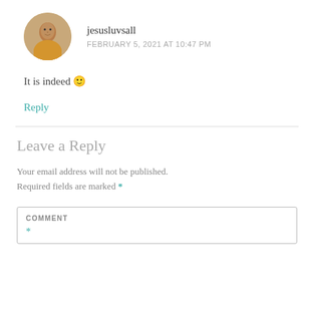[Figure (photo): Circular avatar photo of user jesusluvsall, person wearing yellow/orange top]
jesusluvsall
FEBRUARY 5, 2021 AT 10:47 PM
It is indeed 🙂
Reply
Leave a Reply
Your email address will not be published. Required fields are marked *
COMMENT *